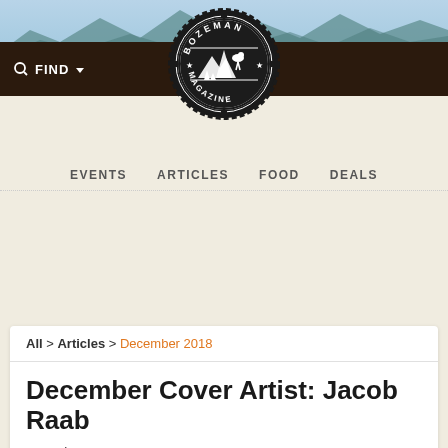[Figure (illustration): Sky and mountain silhouette banner at top of page with light blue sky and dark teal mountain range]
[Figure (logo): Bozeman Magazine circular logo with gear-tooth border, stars, and illustration of mountains, trees, and wildlife]
FIND    EVENTS    ARTICLES    FOOD    DEALS
All > Articles > December 2018
December Cover Artist: Jacob Raab
Saturday Dec. 1st, 2018